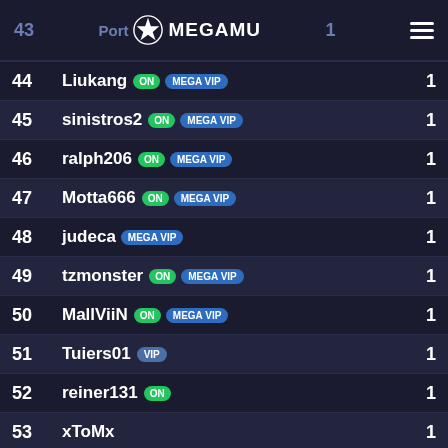43  Port... MEGAMU  1
| Rank | Name | Score |
| --- | --- | --- |
| 44 | Liukang ON MEGA VIP | 1 |
| 45 | sinistros2 ON MEGA VIP | 1 |
| 46 | ralph206 ON MEGA VIP | 1 |
| 47 | Motta666 ON MEGA VIP | 1 |
| 48 | judeca MEGA VIP | 1 |
| 49 | tzmonster ON MEGA VIP | 1 |
| 50 | MallViiN ON MEGA VIP | 1 |
| 51 | Tuiers01 VIP | 1 |
| 52 | reiner131 ON | 1 |
| 53 | xToMx | 1 |
| 54 | _Naruto_ ON | 1 |